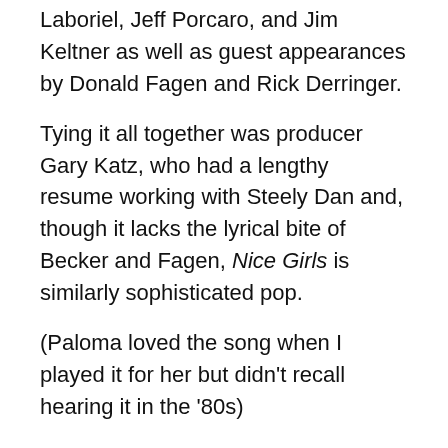Laboriel, Jeff Porcaro, and Jim Keltner as well as guest appearances by Donald Fagen and Rick Derringer.
Tying it all together was producer Gary Katz, who had a lengthy resume working with Steely Dan and, though it lacks the lyrical bite of Becker and Fagen, Nice Girls is similarly sophisticated pop.
(Paloma loved the song when I played it for her but didn't recall hearing it in the '80s)
Kim Wilde – Kids In America
from Kids In America (1982)
(debuted #88, peaked #25, 18 weeks on chart)
We didn't know much about Kim Wilde when she arrived with the New Wave bubblegum of her song Kids In America. She was a comely blonde and I imagine that's all